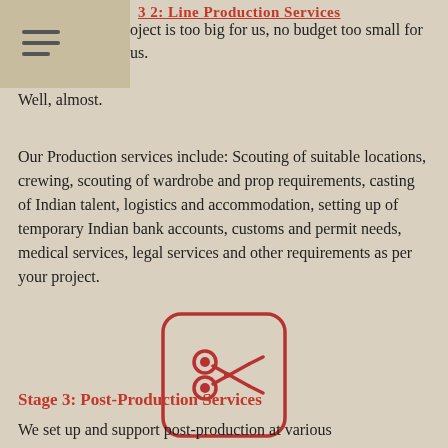3.2: Line Production Services
No project is too big for us, no budget too small for us. Well, almost.
Our Production services include: Scouting of suitable locations, crewing, scouting of wardrobe and prop requirements, casting of Indian talent, logistics and accommodation, setting up of temporary Indian bank accounts, customs and permit needs, medical services, legal services and other requirements as per your project.
[Figure (illustration): A scissors icon inside a rounded rectangle border, rendered in red/dark red outline style on beige background.]
Stage 3: Post-Production Services
We set up and support post-production at various